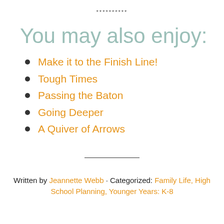**********
You may also enjoy:
Make it to the Finish Line!
Tough Times
Passing the Baton
Going Deeper
A Quiver of Arrows
Written by Jeannette Webb · Categorized: Family Life, High School Planning, Younger Years: K-8